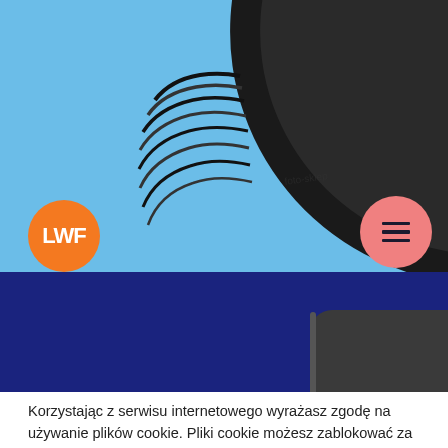[Figure (photo): Website header with light blue background and a black plastic lens cap photographed from below, floating/falling. An orange circle logo with text 'LWF' is in the lower left. A salmon/pink circle hamburger menu button is in the lower right.]
[Figure (photo): Dark navy blue banner section with a dark gray/black rounded rectangular object (possibly a plastic part) partially visible in the lower right corner.]
Korzystając z serwisu internetowego wyrażasz zgodę na używanie plików cookie. Pliki cookie możesz zablokować za pomocą opcji dostępnych w przeglądarce internetowej. Aby dowiedzieć się więcej, Kliknij tutaj.
Cookie Ustawienia
Zaakceptuj Wszystko